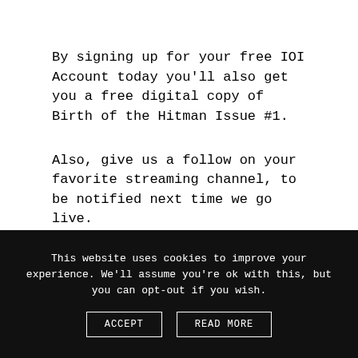By signing up for your free IOI Account today you'll also get you a free digital copy of Birth of the Hitman Issue #1.
Also, give us a follow on your favorite streaming channel, to be notified next time we go live.
This website uses cookies to improve your experience. We'll assume you're ok with this, but you can opt-out if you wish.
ACCEPT
READ MORE